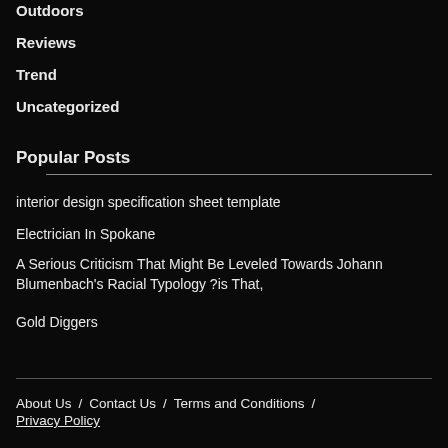Outdoors
Reviews
Trend
Uncategorized
Popular Posts
interior design specification sheet template
Electrician In Spokane
A Serious Criticism That Might Be Leveled Towards Johann Blumenbach's Racial Typology ?is That,
Gold Diggers
About Us / Contact Us / Terms and Conditions / Privacy Policy